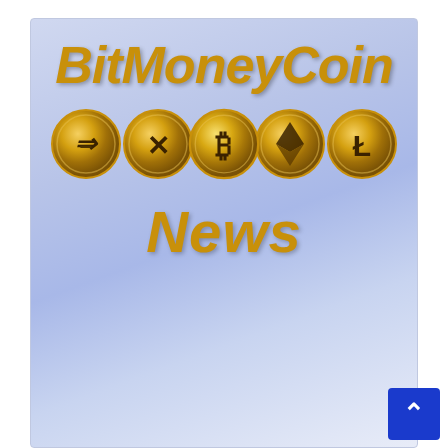[Figure (logo): BitMoneyCoin News logo: italic bold golden text 'BitMoneyCoin' above five golden cryptocurrency coins (Dash, Ripple, Bitcoin, Ethereum, Litecoin) and golden italic bold 'News' text below, on a blue-lavender gradient background]